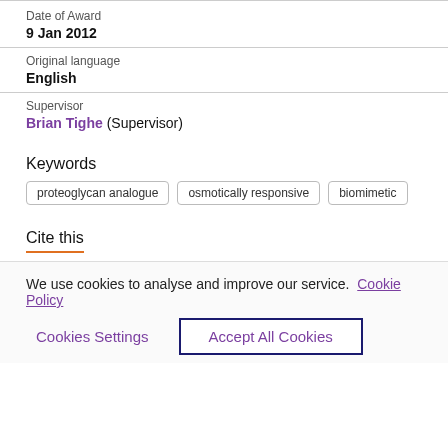Date of Award
9 Jan 2012
Original language
English
Supervisor
Brian Tighe (Supervisor)
Keywords
proteoglycan analogue
osmotically responsive
biomimetic
Cite this
We use cookies to analyse and improve our service. Cookie Policy
Cookies Settings
Accept All Cookies